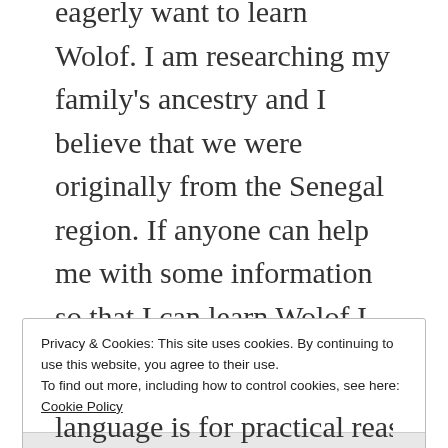eagerly want to learn Wolof. I am researching my family's ancestry and I believe that we were originally from the Senegal region. If anyone can help me with some information so that I can learn Wolof I would greatly appreciate it. Asante!
★ Like
Log in to Reply
[Figure (other): Decorative avatar chevron icon in purple]
Privacy & Cookies: This site uses cookies. By continuing to use this website, you agree to their use.
To find out more, including how to control cookies, see here: Cookie Policy
Close and accept
language is for practical reasons and some